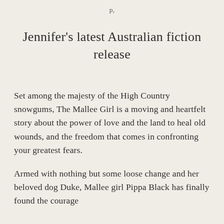p,
Jennifer's latest Australian fiction release
Set among the majesty of the High Country snowgums, The Mallee Girl is a moving and heartfelt story about the power of love and the land to heal old wounds, and the freedom that comes in confronting your greatest fears.
Armed with nothing but some loose change and her beloved dog Duke, Mallee girl Pippa Black has finally found the courage